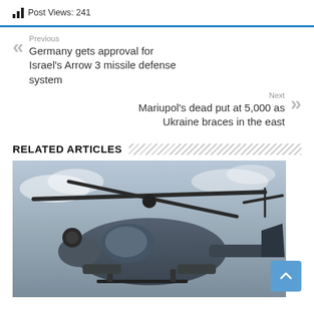Post Views: 241
Previous
Germany gets approval for Israel's Arrow 3 missile defense system
Next
Mariupol's dead put at 5,000 as Ukraine braces in the east
RELATED ARTICLES
[Figure (photo): Military helicopter (Mi-8 or similar) photographed from below against a cloudy sky, showing rotor blades and armament.]